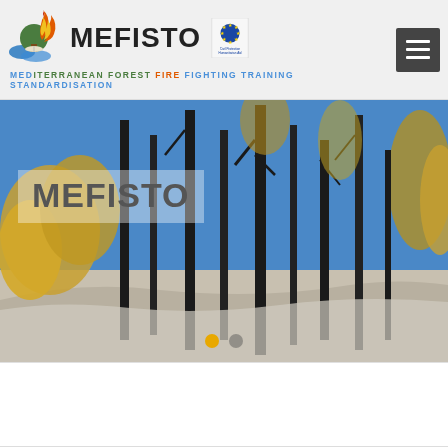[Figure (logo): MEFISTO project logo with flame, tree, and water wave motif, plus EU Civil Protection Humanitarian Aid badge]
MEFISTO
MEDITERRANEAN FOREST FIRE FIGHTING TRAINING STANDARDISATION
[Figure (photo): Burned forest with charred black tree trunks and yellow-orange foliage remnants against a blue sky; post-fire landscape]
MEFISTO